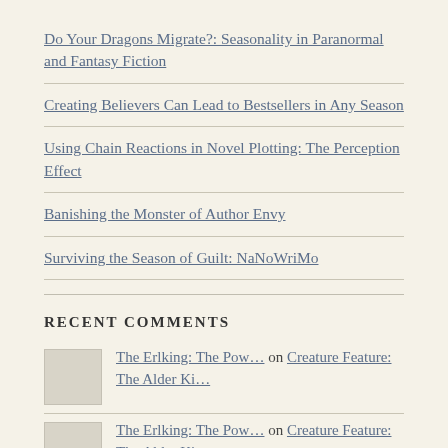Do Your Dragons Migrate?: Seasonality in Paranormal and Fantasy Fiction
Creating Believers Can Lead to Bestsellers in Any Season
Using Chain Reactions in Novel Plotting: The Perception Effect
Banishing the Monster of Author Envy
Surviving the Season of Guilt: NaNoWriMo
RECENT COMMENTS
The Erlking: The Pow… on Creature Feature: The Alder Ki…
The Erlking: The Pow… on Creature Feature: The Alder Ki…
The Erlking: The Pow… on Creature